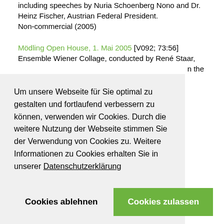including speeches by Nuria Schoenberg Nono and Dr. Heinz Fischer, Austrian Federal President. Non-commercial (2005)
Mödling Open House, 1. Mai 2005 [V092; 73:56] Ensemble Wiener Collage, conducted by René Staar, … n the
Um unsere Webseite für Sie optimal zu gestalten und fortlaufend verbessern zu können, verwenden wir Cookies. Durch die weitere Nutzung der Webseite stimmen Sie der Verwendung von Cookies zu. Weitere Informationen zu Cookies erhalten Sie in unserer Datenschutzerklärung
Cookies ablehnen | Cookies zulassen
e op.
Non-commercial (2003)